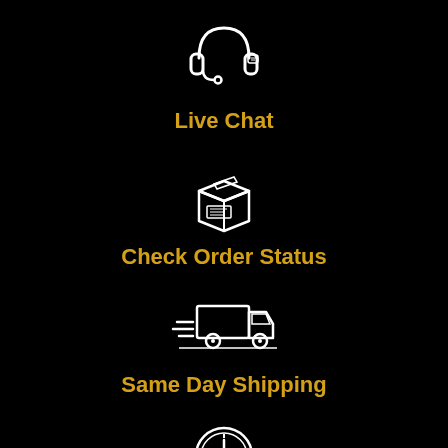[Figure (illustration): White outline headset/headphones with chat bubble icon on black background]
Live Chat
[Figure (illustration): White outline shipping box/package icon on black background]
Check Order Status
[Figure (illustration): White outline fast delivery truck with speed lines icon on black background]
Same Day Shipping
[Figure (illustration): White outline clock icon on black background]